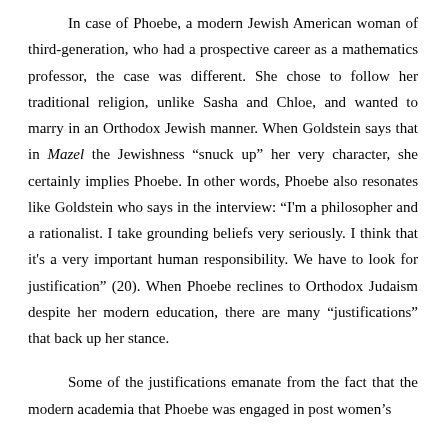In case of Phoebe, a modern Jewish American woman of third-generation, who had a prospective career as a mathematics professor, the case was different. She chose to follow her traditional religion, unlike Sasha and Chloe, and wanted to marry in an Orthodox Jewish manner. When Goldstein says that in Mazel the Jewishness “snuck up” her very character, she certainly implies Phoebe. In other words, Phoebe also resonates like Goldstein who says in the interview: “I'm a philosopher and a rationalist. I take grounding beliefs very seriously. I think that it's a very important human responsibility. We have to look for justification” (20). When Phoebe reclines to Orthodox Judaism despite her modern education, there are many “justifications” that back up her stance.
Some of the justifications emanate from the fact that the modern academia that Phoebe was engaged in post women’s